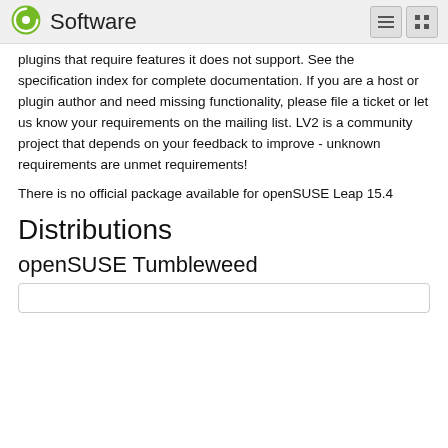Software
plugins that require features it does not support. See the specification index for complete documentation. If you are a host or plugin author and need missing functionality, please file a ticket or let us know your requirements on the mailing list. LV2 is a community project that depends on your feedback to improve - unknown requirements are unmet requirements!
There is no official package available for openSUSE Leap 15.4
Distributions
openSUSE Tumbleweed